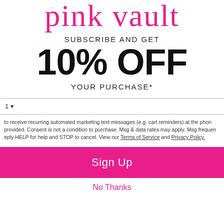pink vault
SUBSCRIBE AND GET
10% OFF
YOUR PURCHASE*
1
to receive recurring automated marketing text messages (e.g. cart reminders) at the phone provided. Consent is not a condition to purchase. Msg & data rates may apply. Msg frequency reply HELP for help and STOP to cancel. View our Terms of Service and Privacy Policy.
Sign Up
No Thanks